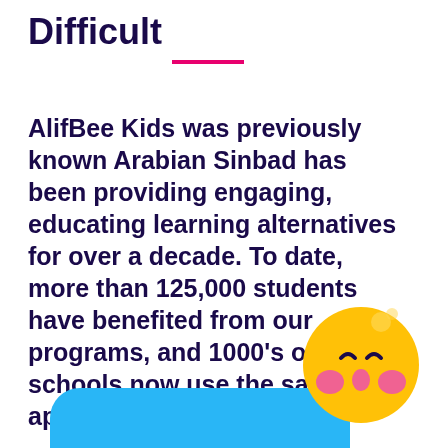Difficult
AlifBee Kids was previously known Arabian Sinbad has been providing engaging, educating learning alternatives for over a decade. To date, more than 125,000 students have benefited from our programs, and 1000's of schools now use the same approach.
[Figure (illustration): Yellow cartoon bee/emoji character with pink cheeks and a playful expression, positioned at bottom right, with a blue rounded rectangle shape at the bottom]